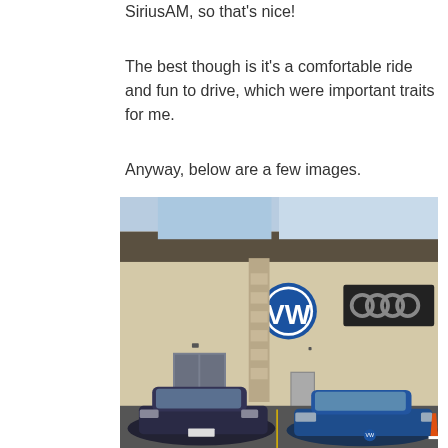SiriusAM, so that's nice!
The best though is it's a comfortable ride and fun to drive, which were important traits for me.
Anyway, below are a few images.
[Figure (photo): Exterior of a VW and Audi dealership building with large VW logo circle and Audi four-rings sign on the facade. Two blue Volkswagen Jetta sedans are parked in the foreground lot.]